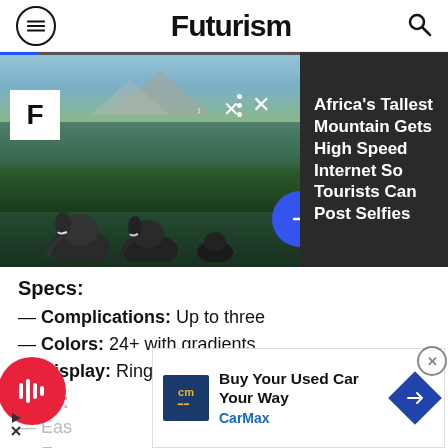Futurism
[Figure (photo): Futurism website screenshot showing hero image of elephants in African savanna with mountain in background, overlaid with navigation controls and a sidebar showing article headline 'Africa's Tallest Mountain Gets High Speed Internet So Tourists Can Post Selfies']
Specs:
— Complications: Up to three
— Colors: 24+ with gradients
— Display: Rings or subdials
Pros:
— Easy
— Exc
music while working out